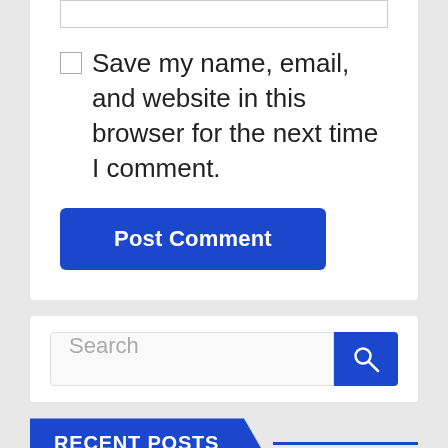Save my name, email, and website in this browser for the next time I comment.
Post Comment
Search
RECENT POSTS
Hackers Compromise The Youtube Channel of The